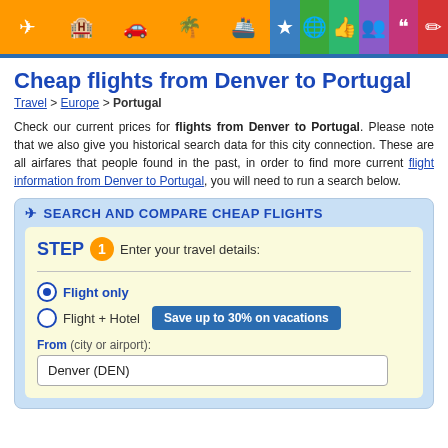[Figure (screenshot): Navigation toolbar with orange background containing icons for flights, hotels, cars, vacations, cruises, and colored buttons for favorites, globe, thumbs up, group, quotes, and edit]
Cheap flights from Denver to Portugal
Travel > Europe > Portugal
Check our current prices for flights from Denver to Portugal. Please note that we also give you historical search data for this city connection. These are all airfares that people found in the past, in order to find more current flight information from Denver to Portugal, you will need to run a search below.
SEARCH AND COMPARE CHEAP FLIGHTS
STEP 1 Enter your travel details:
Flight only
Flight + Hotel  Save up to 30% on vacations
From (city or airport): Denver (DEN)